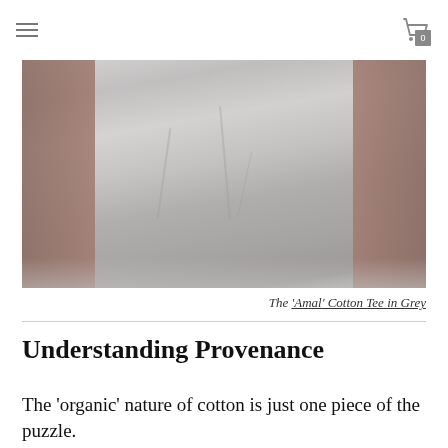Navigation menu and cart icon with 0 items
[Figure (photo): Close-up photo of a person wearing a grey cotton t-shirt, showing the torso and fabric texture]
The 'Amal' Cotton Tee in Grey
Understanding Provenance
The 'organic' nature of cotton is just one piece of the puzzle.